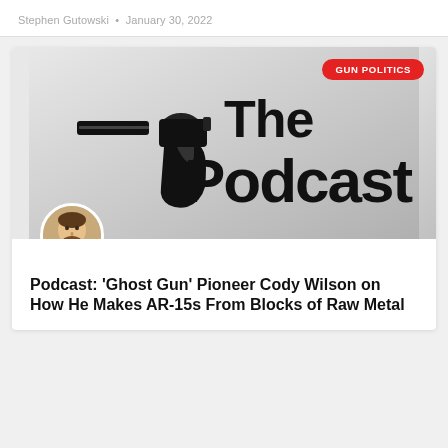Stephen Gutowski • January 30, 2022
[Figure (illustration): Podcast logo image: hand holding a revolver pointing left, beside bold text 'The Podcast' on a gray gradient background. Red 'GUN POLITICS' badge in top right corner. Circular author photo of Stephen Gutowski overlapping bottom left.]
Podcast: ‘Ghost Gun’ Pioneer Cody Wilson on How He Makes AR-15s From Blocks of Raw Metal